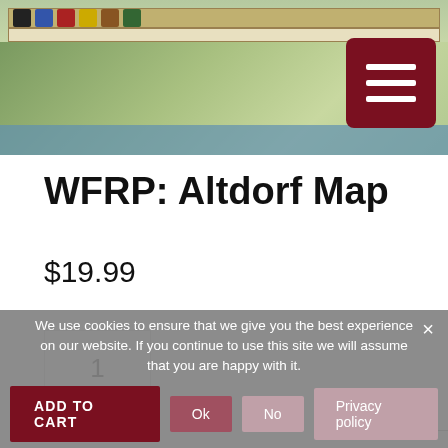[Figure (map): Fantasy city map of Altdorf with heraldic shields, terrain, river, and decorative border. A dark red hamburger menu button overlays the top right corner.]
WFRP: Altdorf Map
$19.99
1
— OR —
We use cookies to ensure that we give you the best experience on our website. If you continue to use this site we will assume that you are happy with it.
ADD TO CART
Ok
No
Privacy policy